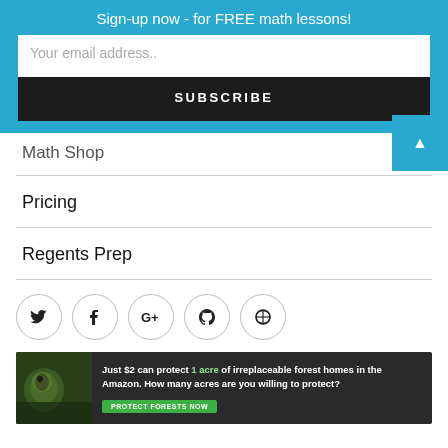Sign-up now - for FREE math lessons!
Your email address..
SUBSCRIBE
Math Shop
Pricing
Regents Prep
[Figure (other): Social media icons: Twitter, Facebook, Google+, GitHub, WordPress]
[Figure (other): Advertisement banner: Just $2 can protect 1 acre of irreplaceable forest homes in the Amazon. How many acres are you willing to protect? PROTECT FORESTS NOW]